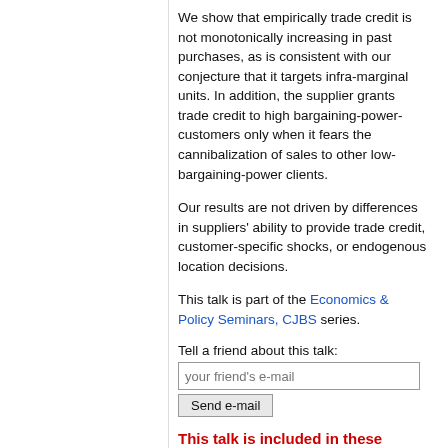We show that empirically trade credit is not monotonically increasing in past purchases, as is consistent with our conjecture that it targets infra-marginal units. In addition, the supplier grants trade credit to high bargaining-power-customers only when it fears the cannibalization of sales to other low-bargaining-power clients.
Our results are not driven by differences in suppliers' ability to provide trade credit, customer-specific shocks, or endogenous location decisions.
This talk is part of the Economics & Policy Seminars, CJBS series.
Tell a friend about this talk:
This talk is included in these